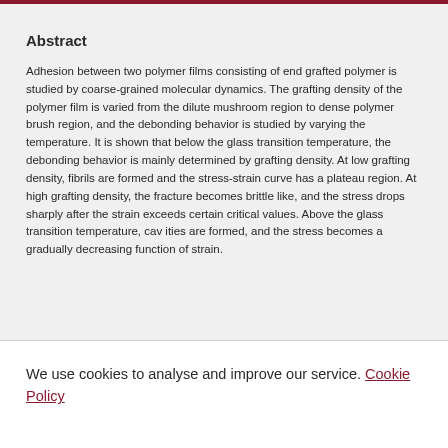Abstract
Adhesion between two polymer films consisting of end grafted polymer is studied by coarse-grained molecular dynamics. The grafting density of the polymer film is varied from the dilute mushroom region to dense polymer brush region, and the debonding behavior is studied by varying the temperature. It is shown that below the glass transition temperature, the debonding behavior is mainly determined by grafting density. At low grafting density, fibrils are formed and the stress-strain curve has a plateau region. At high grafting density, the fracture becomes brittle like, and the stress drops sharply after the strain exceeds certain critical values. Above the glass transition temperature, cav ities are formed, and the stress becomes a gradually decreasing function of strain.
We use cookies to analyse and improve our service. Cookie Policy